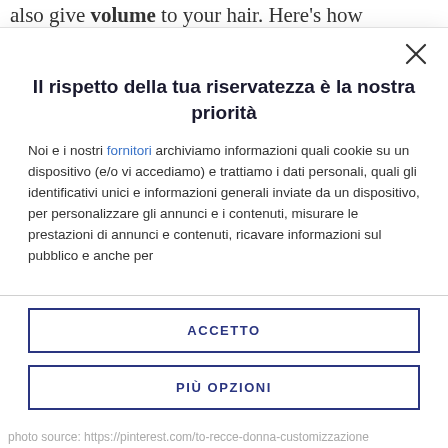also give volume to your hair. Here's how
Il rispetto della tua riservatezza è la nostra priorità
Noi e i nostri fornitori archiviamo informazioni quali cookie su un dispositivo (e/o vi accediamo) e trattiamo i dati personali, quali gli identificativi unici e informazioni generali inviate da un dispositivo, per personalizzare gli annunci e i contenuti, misurare le prestazioni di annunci e contenuti, ricavare informazioni sul pubblico e anche per
ACCETTO
PIÙ OPZIONI
photo source: https://pinterest.com/to-recce-donna-customizzazione